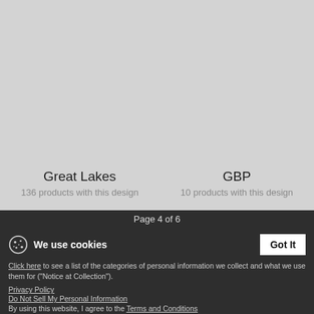[Figure (screenshot): Gray placeholder image area showing two product design cards: 'Great Lakes' with 136 products and 'GBP' with 10 products]
Great Lakes
136 products with this design
GBP
10 products with this design
Page 4 of 6
We use cookies
Click here to see a list of the categories of personal information we collect and what we use them for ("Notice at Collection").
Privacy Policy
Do Not Sell My Personal Information
By using this website, I agree to the Terms and Conditions